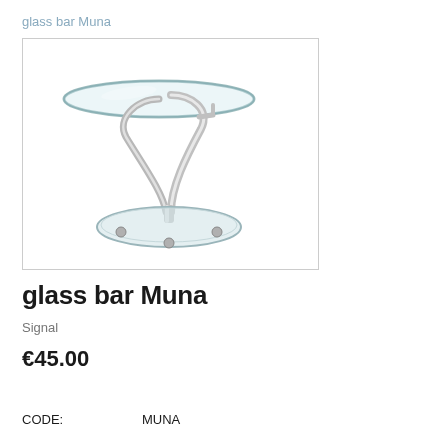glass bar Muna
[Figure (photo): A modern glass side table named Muna with a round transparent glass top, a curved chrome/steel stem, and a round frosted glass base with chrome foot caps.]
glass bar Muna
Signal
€45.00
CODE:   MUNA